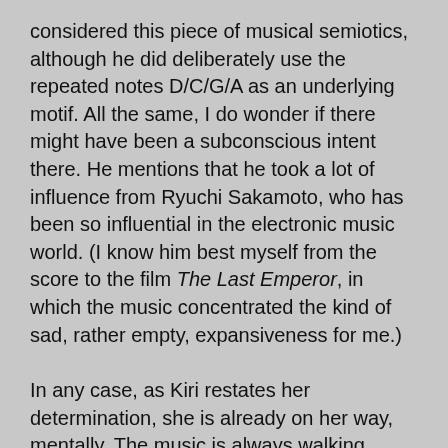considered this piece of musical semiotics, although he did deliberately use the repeated notes D/C/G/A as an underlying motif. All the same, I do wonder if there might have been a subconscious intent there. He mentions that he took a lot of influence from Ryuchi Sakamoto, who has been so influential in the electronic music world. (I know him best myself from the score to the film The Last Emperor, in which the music concentrated the kind of sad, rather empty, expansiveness for me.)
In any case, as Kiri restates her determination, she is already on her way, mentally. The music is always walking, always climbing. The rhythmic character is gentle, with quavers bobbing along, and no strong, overt beat. It is so hypnotic that after sustained listening the music sits somewhere in the semi-conscious, playing out even when there is no underscore; it feels like the series is whispering it